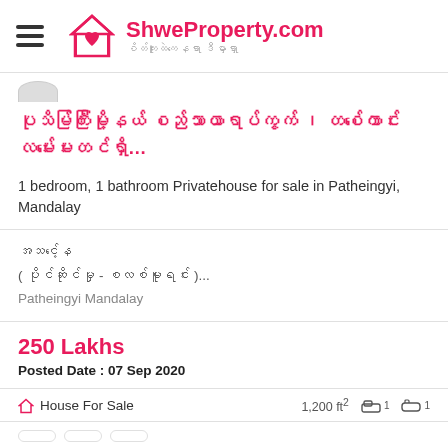ShweProperty.com — စိတ်ကူးထဲကနေရာ ဒီမှာရှာ
[Figure (logo): ShweProperty.com logo with house icon containing a heart]
ပုသိမ်ကြီးမြို့နယ် စည်သာယာရပ်ကွက် ၊ တစ်ကောင်းလမ်းမေးတင်ရှိ…
1 bedroom, 1 bathroom Privatehouse for sale in Patheingyi, Mandalay
အသင့်နေ ( ပိုင်ဆိုင်မှု - စလစ်မူရင်း )...
Patheingyi Mandalay
250 Lakhs
Posted Date : 07 Sep 2020
House For Sale  1,200 ft²  1 bedroom  1 bathroom